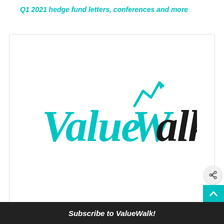Q1 2021 hedge fund letters, conferences and more
[Figure (logo): ValueWalk logo — the word 'Value' in teal/cyan italic serif font and 'Walk' in dark/black italic serif font, with a teal upward arrow/chart icon above the W in Walk]
Subscribe to ValueWalk!